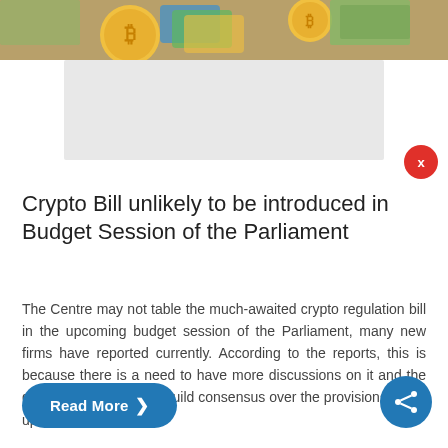[Figure (photo): Cropped photo of gold bitcoin coins and colorful currency cards/notes at the top of the page]
[Figure (other): Gray advertisement placeholder block]
Crypto Bill unlikely to be introduced in Budget Session of the Parliament
The Centre may not table the much-awaited crypto regulation bill in the upcoming budget session of the Parliament, many new firms have reported currently. According to the reports, this is because there is a need to have more discussions on it and the government intends to build consensus over the provisions of the upcoming Bill....